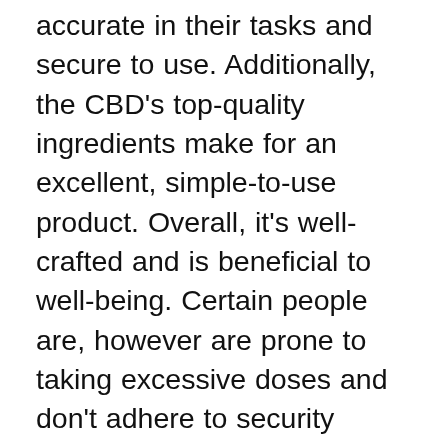accurate in their tasks and secure to use. Additionally, the CBD's top-quality ingredients make for an excellent, simple-to-use product. Overall, it's well-crafted and is beneficial to well-being. Certain people are, however are prone to taking excessive doses and don't adhere to security guidelines. Vive CBD Gummies have gone through extensive tests in the clinic and were discovered to not cause any serious negative side negative effects. There are a few who be suffering from the negative consequences caused by an allergic reaction within their body. Therefore, you should talk to your physician about the issue.